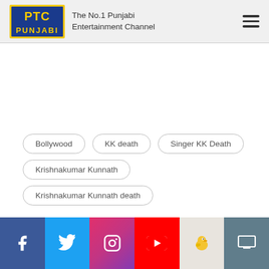[Figure (logo): PTC Punjabi logo — blue and yellow rectangular logo with 'PTC' in bold yellow letters on blue background and 'PUNJABI' in yellow below on blue]
The No.1 Punjabi Entertainment Channel
Bollywood
KK death
Singer KK Death
Krishnakumar Kunnath
Krishnakumar Kunnath death
Facebook | Twitter | Instagram | YouTube | Koo | TV